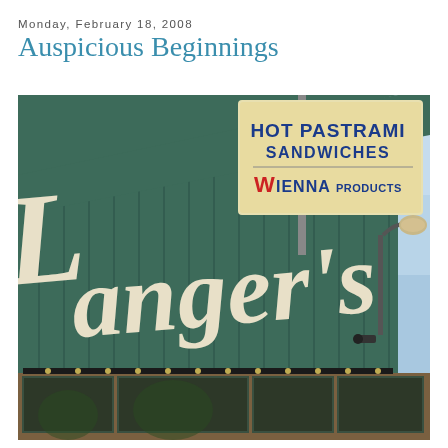Monday, February 18, 2008
Auspicious Beginnings
[Figure (photo): Exterior photo of Langer's Deli showing the green-paneled building facade with large cursive 'Langer's' sign and a roadside sign reading 'HOT PASTRAMI SANDWICHES VIENNA PRODUCTS']